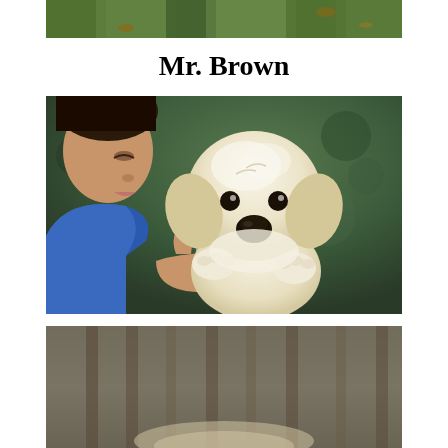[Figure (photo): Top partial photo showing green grass and ground, cropped at top of page]
Mr. Brown
[Figure (photo): A person in a blue shirt holding up a small fluffy white/cream golden retriever puppy with dark eyes and black nose, bokeh green background]
[Figure (photo): Bottom partial photo, blurred background with fence-like structure, beginning of another puppy photo]